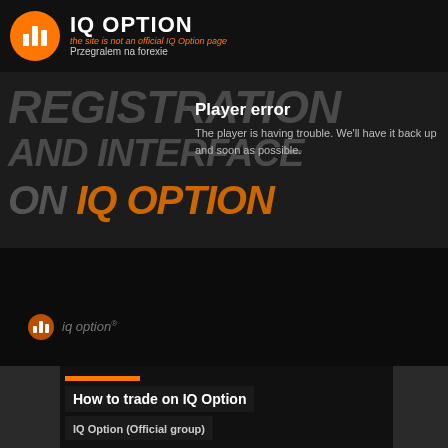IQ OPTION — the site is not an official IQ Option page — Przegralem na forexie
[Figure (screenshot): Video player showing IQ Option registration and interface tutorial with a player error overlay. Background shows large italic text: REGISTRATION / AND INTERFACE / ON IQ OPTION. Player error message: 'Player error — The player is having trouble. We'll have it back up and soon as possible.' IQ Option watermark logo visible in lower left of video.]
REGISTRATION
Registration on our platform is really easy. A couple of clicks, and you're already trading the assets
[Figure (screenshot): Next video card showing 'How to trade on IQ Option' with channel name 'IQ Option (Official group)' and orange accent bar]
How to trade on IQ Option
IQ Option (Official group)